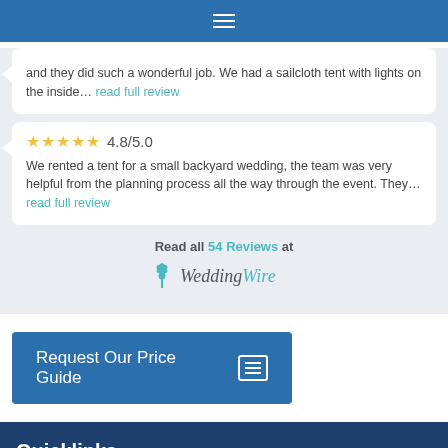Navigation menu (hamburger icon)
and they did such a wonderful job. We had a sailcloth tent with lights on the inside… read full review
4.8/5.0 We rented a tent for a small backyard wedding, the team was very helpful from the planning process all the way through the event. They… read full review
Read all 54 Reviews at WeddingWire
Request Our Price Guide
Quicklinks